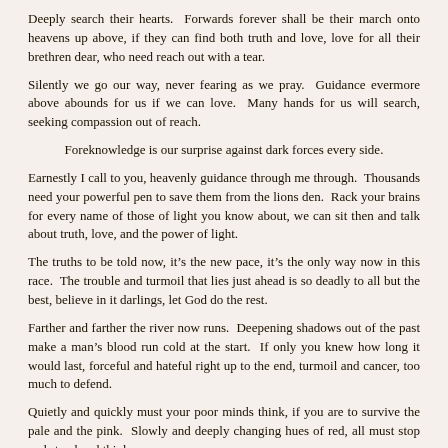Deeply search their hearts.  Forwards forever shall be their march onto heavens up above, if they can find both truth and love, love for all their brethren dear, who need reach out with a tear.
Silently we go our way, never fearing as we pray.  Guidance evermore above abounds for us if we can love.  Many hands for us will search, seeking compassion out of reach.
Foreknowledge is our surprise against dark forces every side.
Earnestly I call to you, heavenly guidance through me through.  Thousands need your powerful pen to save them from the lions den.  Rack your brains for every name of those of light you know about, we can sit then and talk about truth, love, and the power of light.
The truths to be told now, it's the new pace, it's the only way now in this race.  The trouble and turmoil that lies just ahead is so deadly to all but the best, believe in it darlings, let God do the rest.
Farther and farther the river now runs.  Deepening shadows out of the past make a man's blood run cold at the start.  If only you knew how long it would last, forceful and hateful right up to the end, turmoil and cancer, too much to defend.
Quietly and quickly must your poor minds think, if you are to survive the pale and the pink.  Slowly and deeply changing hues of red, all must stop and stand and think.